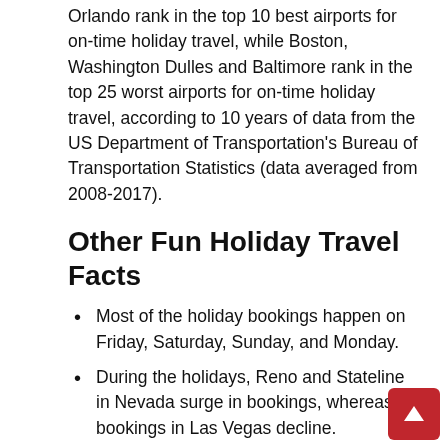Orlando rank in the top 10 best airports for on-time holiday travel, while Boston, Washington Dulles and Baltimore rank in the top 25 worst airports for on-time holiday travel, according to 10 years of data from the US Department of Transportation's Bureau of Transportation Statistics (data averaged from 2008-2017).
Other Fun Holiday Travel Facts
Most of the holiday bookings happen on Friday, Saturday, Sunday, and Monday.
During the holidays, Reno and Stateline in Nevada surge in bookings, whereas bookings in Las Vegas decline.
South Lake Tahoe is a popular holiday destination, with the exception of Memorial Day.
Florida is most popular during Martin Luther King Jr. Day and least popular during Labor Day and Thanksgiving.
Kissimmee, Lake Buena Vista, and Orlando are all